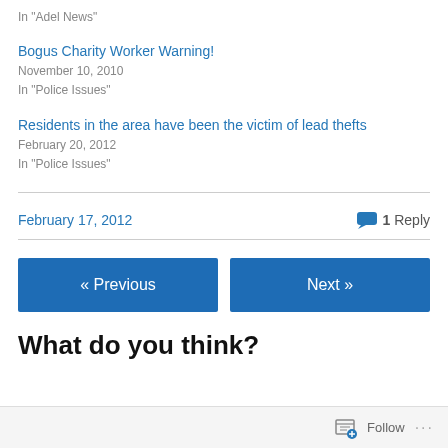In "Adel News"
Bogus Charity Worker Warning!
November 10, 2010
In "Police Issues"
Residents in the area have been the victim of lead thefts
February 20, 2012
In "Police Issues"
February 17, 2012   1 Reply
« Previous
Next »
What do you think?
Follow ...